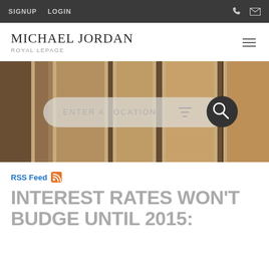SIGNUP  LOGIN
[Figure (logo): MICHAEL JORDAN / ROYAL LEPAGE wordmark logo with hamburger menu icon]
[Figure (photo): Hero image of wooden door/panels with a search bar overlay reading ENTER A LOCATION with filter and search magnifier button]
RSS Feed
INTEREST RATES WON'T BUDGE UNTIL 2015: